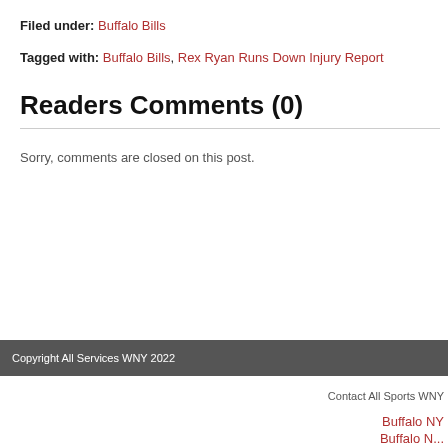Filed under: Buffalo Bills
Tagged with: Buffalo Bills, Rex Ryan Runs Down Injury Report
Readers Comments (0)
Sorry, comments are closed on this post.
Copyright All Services WNY 2022
Contact All Sports WNY
Buffalo NY
Buffalo N...